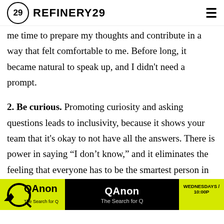REFINERY29
me time to prepare my thoughts and contribute in a way that felt comfortable to me. Before long, it became natural to speak up, and I didn't need a prompt.
2. Be curious. Promoting curiosity and asking questions leads to inclusivity, because it shows your team that it's okay to not have all the answers. There is power in saying "I don't know," and it eliminates the feeling that everyone has to be the smartest person in the room. A psychologically safe culture promotes behaviors like genuinely wanting to learn, and a big part of learning is listening to what others have to say. You can do this by modeling the behavior yourself — asking questions and admitting... You could also create structure around this by having every
[Figure (other): QAnon VICE TV advertisement banner overlay: yellow and black ad for 'QAnon: The Search for Q' on VICE TV, Wednesdays 10:00P]